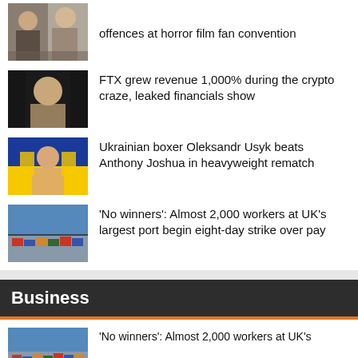[Figure (photo): Two people at a horror film fan convention]
offences at horror film fan convention
[Figure (photo): Sam Bankman-Fried smiling]
FTX grew revenue 1,000% during the crypto craze, leaked financials show
[Figure (photo): Ukrainian boxer Oleksandr Usyk holding Ukrainian flag]
Ukrainian boxer Oleksandr Usyk beats Anthony Joshua in heavyweight rematch
[Figure (photo): Aerial view of UK's largest port with containers]
'No winners': Almost 2,000 workers at UK's largest port begin eight-day strike over pay
Business
[Figure (photo): Aerial view of port]
'No winners': Almost 2,000 workers at UK's